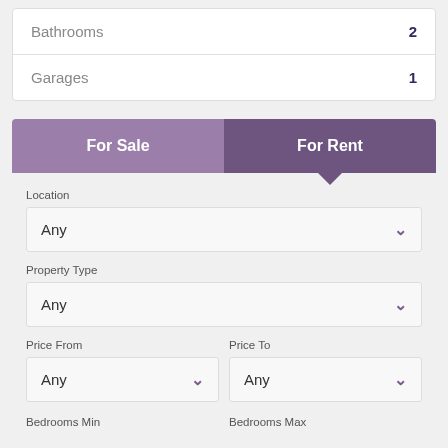Bathrooms  2
Garages  1
For Sale
For Rent
Location
Any
Property Type
Any
Price From
Price To
Any
Any
Bedrooms Min
Bedrooms Max